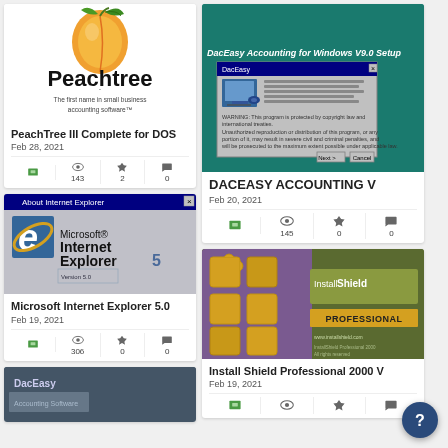[Figure (screenshot): Peachtree accounting software logo with peach graphic and text 'The first name in small business accounting software']
PeachTree III Complete for DOS
Feb 28, 2021
143 views, 2 favorites, 0 comments
[Figure (screenshot): Microsoft Internet Explorer 5 logo with blue 'e' icon]
Microsoft Internet Explorer 5.0
Feb 19, 2021
306 views, 0 favorites, 0 comments
[Figure (screenshot): Partial view of DacEasy software screenshot]
[Figure (screenshot): DacEasy Accounting for Windows V9.0 Setup screen with teal background and installer dialog]
DACEASY ACCOUNTING V
Feb 20, 2021
145 views, 0 favorites, 0 comments
[Figure (screenshot): InstallShield Professional 2000 product box with puzzle piece graphics and gold InstallShield logo]
Install Shield Professional 2000 V
Feb 19, 2021
views, favorites, comments (icons shown)